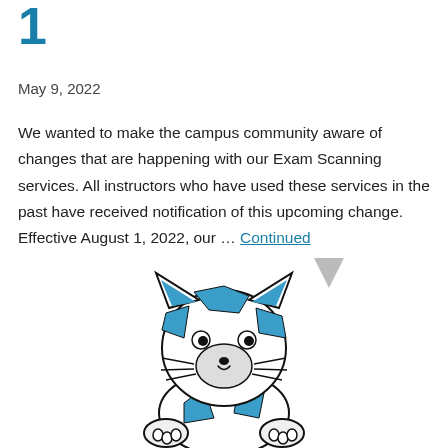1
May 9, 2022
We wanted to make the campus community aware of changes that are happening with our Exam Scanning services. All instructors who have used these services in the past have received notification of this upcoming change. Effective August 1, 2022, our ... Continued
[Figure (illustration): Cartoon cat mascot with blue geometric patterned fur, black eyes, white muzzle area, black nose, whiskers, and small smile. The cat is seated facing forward with paws raised.]